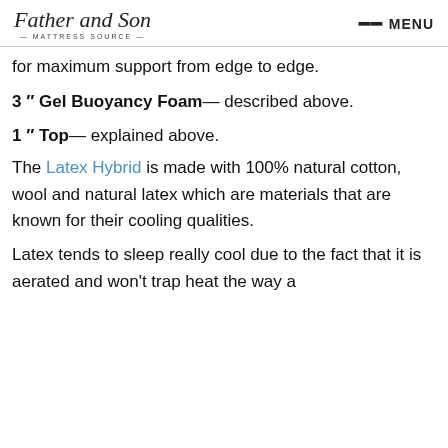Father and Son — MATTRESS SOURCE — MENU
for maximum support from edge to edge.
3" Gel Buoyancy Foam— described above.
1" Top— explained above.
The Latex Hybrid is made with 100% natural cotton, wool and natural latex which are materials that are known for their cooling qualities.
Latex tends to sleep really cool due to the fact that it is aerated and won't trap heat the way a